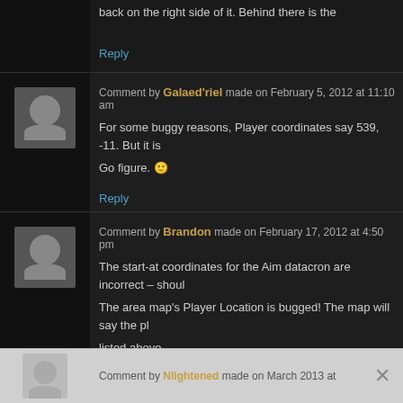back on the right side of it. Behind there is the
Reply
Comment by Galaed'riel made on February 5, 2012 at 11:10 am
For some buggy reasons, Player coordinates say 539, -11. But it is
Go figure. 🙂
Reply
Comment by Brandon made on February 17, 2012 at 4:50 pm
The start-at coordinates for the Aim datacron are incorrect – shoul
The area map's Player Location is bugged! The map will say the pl
listed above.
Reply
Comment by Nlightened made on